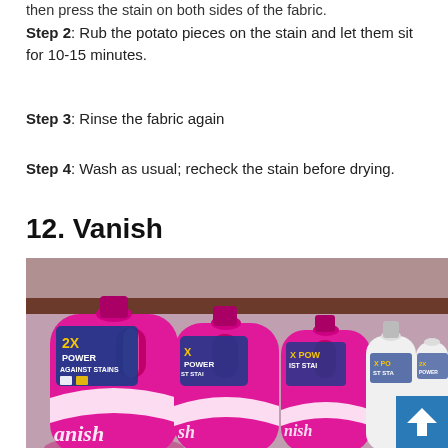then press the stain on both sides of the fabric.
Step 2: Rub the potato pieces on the stain and let them sit for 10-15 minutes.
Step 3: Rinse the fabric again
Step 4: Wash as usual; recheck the stain before drying.
12. Vanish
[Figure (photo): Rows of pink Vanish laundry detergent bottles labeled '2X Power Against Stains' on a store shelf, alongside white bottles. A blue scroll-to-top button is visible in the lower right corner.]